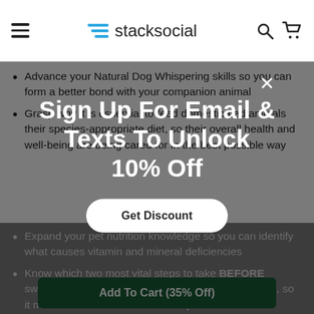stacksocial
Advance your Natural Dog Whispering skills so you can form a better bond with your companion animal
Grasp why it is essential to feed domesticated animals their species-appropriate diet, so their overall health and well-being are being cared for in the best possible way
Expand your pet nutrition knowledge so you can identify what causes vitamin and mineral deficiencies
Know which two most vital steps to take BEFORE switching an animal onto its species-appropriate diet, so it makes the smoothest transition possible
Adopt your pets to use the raw foods safely, along with learning how to dramatically cut your animals lifetime pet care bills, saving you time, stress, money,
Sign Up For Email & Texts To Unlock 10% Off
Get Discount
Add To Cart (35% Off)